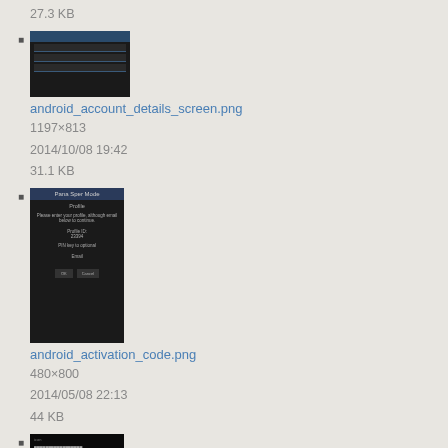27.3 KB
[Figure (screenshot): Android account details screen thumbnail - dark background with form fields]
android_account_details_screen.png
1197×813
2014/10/08 19:42
31.1 KB
[Figure (screenshot): Android activation code screen thumbnail - dark background with profile form]
android_activation_code.png
480×800
2014/05/08 22:13
44 KB
[Figure (screenshot): Android screenshot thumbnail - dark background with green bar element]